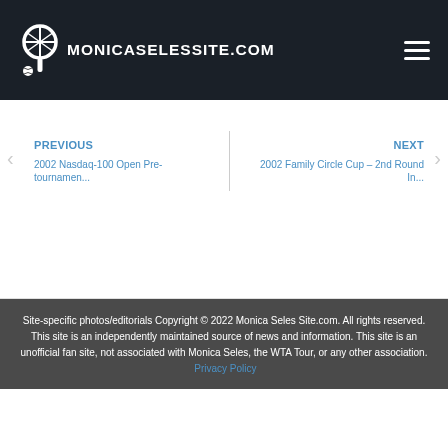MONICASELESSITE.COM
PREVIOUS
2002 Nasdaq-100 Open Pre-tournamen...
NEXT
2002 Family Circle Cup – 2nd Round In...
Site-specific photos/editorials Copyright © 2022 Monica Seles Site.com. All rights reserved.
This site is an independently maintained source of news and information. This site is an unofficial fan site, not associated with Monica Seles, the WTA Tour, or any other association. Privacy Policy